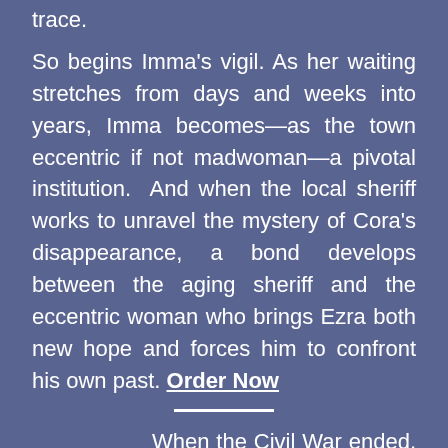trace.
So begins Imma's vigil. As her waiting stretches from days and weeks into years, Imma becomes—as the town eccentric if not madwoman—a pivotal institution.  And when the local sheriff works to unravel the mystery of Cora's disappearance, a bond develops between the aging sheriff and the eccentric woman who brings Ezra both new hope and forces him to confront his own past. Order Now
When the Civil War ended, Gil Hooley journeyed out West, figuring that if there was any market left for his